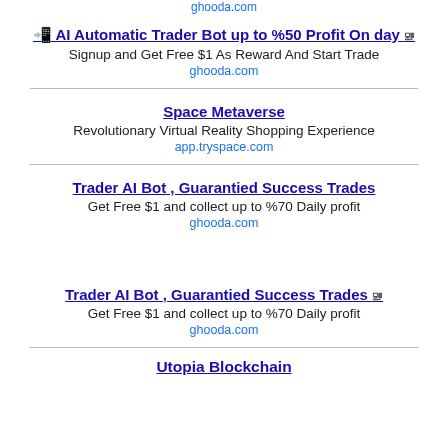ghooda.com
🔲 AI Automatic Trader Bot up to %50 Profit On day
Signup and Get Free $1 As Reward And Start Trade
ghooda.com
Space Metaverse
Revolutionary Virtual Reality Shopping Experience
app.tryspace.com
Trader AI Bot , Guarantied Success Trades
Get Free $1 and collect up to %70 Daily profit
ghooda.com
Trader AI Bot , Guarantied Success Trades
Get Free $1 and collect up to %70 Daily profit
ghooda.com
Utopia Blockchain